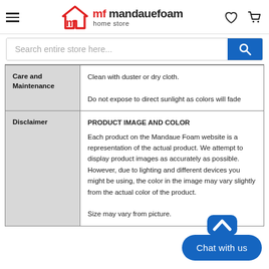[Figure (logo): Mandaue Foam home store logo with hamburger menu, heart icon, and cart icon]
[Figure (screenshot): Search bar with placeholder text 'Search entire store here...' and blue search button]
| Care and Maintenance | Clean with duster or dry cloth.
Do not expose to direct sunlight as colors will fade |
| Disclaimer | PRODUCT IMAGE AND COLOR
Each product on the Mandaue Foam website is a representation of the actual product. We attempt to display product images as accurately as possible. However, due to lighting and different devices you might be using, the color in the image may vary slightly from the actual color of the product.
Size may vary from picture. |
[Figure (other): Blue 'Chat with us' button with back-to-top chevron arrow above it]